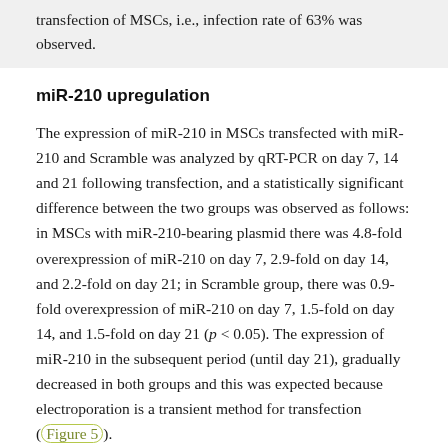transfection of MSCs, i.e., infection rate of 63% was observed.
miR-210 upregulation
The expression of miR-210 in MSCs transfected with miR-210 and Scramble was analyzed by qRT-PCR on day 7, 14 and 21 following transfection, and a statistically significant difference between the two groups was observed as follows: in MSCs with miR-210-bearing plasmid there was 4.8-fold overexpression of miR-210 on day 7, 2.9-fold on day 14, and 2.2-fold on day 21; in Scramble group, there was 0.9-fold overexpression of miR-210 on day 7, 1.5-fold on day 14, and 1.5-fold on day 21 (p < 0.05). The expression of miR-210 in the subsequent period (until day 21), gradually decreased in both groups and this was expected because electroporation is a transient method for transfection (Figure 5).